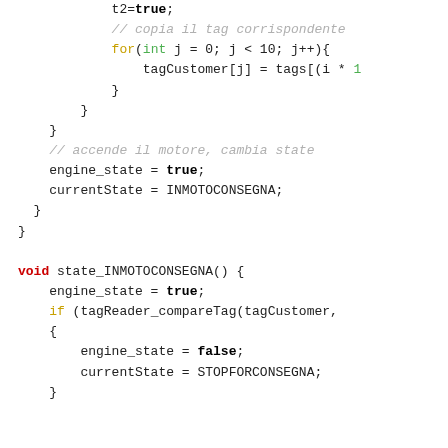Code snippet showing Arduino/C++ state machine code with function state_INMOTOCONSEGNA